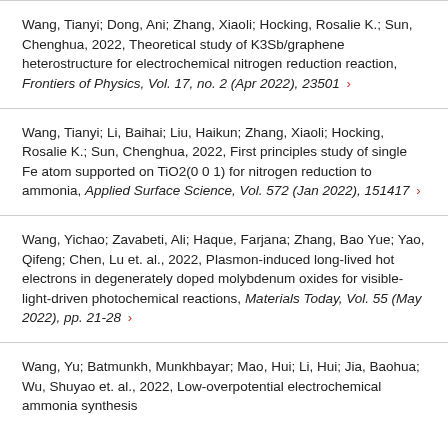Wang, Tianyi; Dong, Ani; Zhang, Xiaoli; Hocking, Rosalie K.; Sun, Chenghua, 2022, Theoretical study of K3Sb/graphene heterostructure for electrochemical nitrogen reduction reaction, Frontiers of Physics, Vol. 17, no. 2 (Apr 2022), 23501
Wang, Tianyi; Li, Baihai; Liu, Haikun; Zhang, Xiaoli; Hocking, Rosalie K.; Sun, Chenghua, 2022, First principles study of single Fe atom supported on TiO2(0 0 1) for nitrogen reduction to ammonia, Applied Surface Science, Vol. 572 (Jan 2022), 151417
Wang, Yichao; Zavabeti, Ali; Haque, Farjana; Zhang, Bao Yue; Yao, Qifeng; Chen, Lu et. al., 2022, Plasmon-induced long-lived hot electrons in degenerately doped molybdenum oxides for visible-light-driven photochemical reactions, Materials Today, Vol. 55 (May 2022), pp. 21-28
Wang, Yu; Batmunkh, Munkhbayar; Mao, Hui; Li, Hui; Jia, Baohua; Wu, Shuyao et. al., 2022, Low-overpotential electrochemical ammonia synthesis...